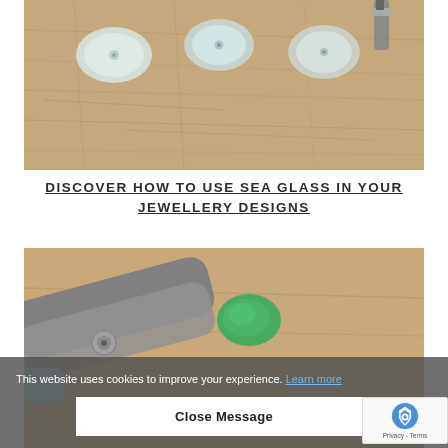[Figure (photo): Close-up photo of small frosted sea glass pieces with holes drilled in them, arranged on a wooden surface with a tool visible at top right]
DISCOVER HOW TO USE SEA GLASS IN YOUR JEWELLERY DESIGNS
[Figure (photo): Close-up photo of a green piece of sea glass on a wooden surface with scissors/pliers visible on the left]
This website uses cookies to improve your experience. Learn more
Close Message